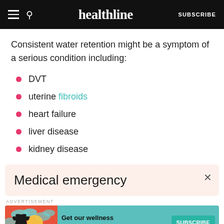healthline  SUBSCRIBE
Consistent water retention might be a symptom of a serious condition including:
DVT
uterine fibroids
heart failure
liver disease
kidney disease
Medical emergency
ADVERTISEMENT  Get our wellness newsletter.  SUBSCRIBE